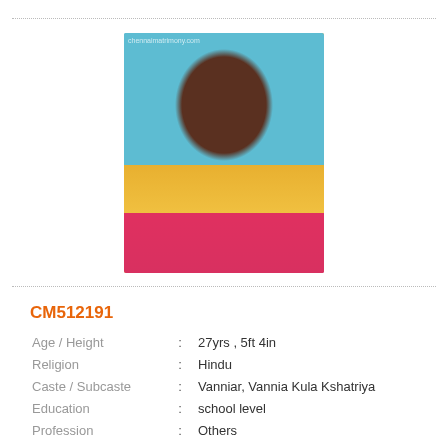[Figure (photo): Portrait photo of a young woman wearing a yellow and pink saree with white flower garland, standing against a blue background.]
CM512191
| Field | : | Value |
| --- | --- | --- |
| Age / Height | : | 27yrs , 5ft 4in |
| Religion | : | Hindu |
| Caste / Subcaste | : | Vanniar, Vannia Kula Kshatriya |
| Education | : | school level |
| Profession | : | Others |
| Salary | : | Below 20,000 |
| Location | : | kanchipuram |
| Star / Rasi | : | Does not matter ,Does not matter ; |